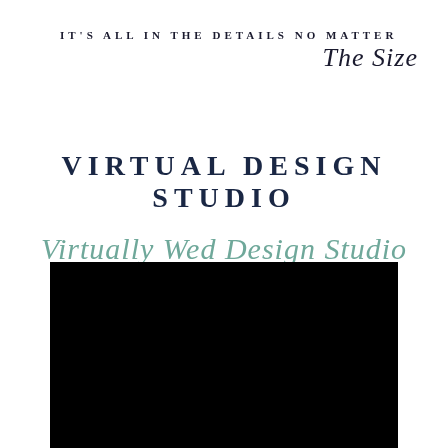IT'S ALL IN THE DETAILS NO MATTER The Size
VIRTUAL DESIGN STUDIO
Virtually Wed Design Studio
[Figure (photo): A large black rectangle placeholder image at the bottom of the page]